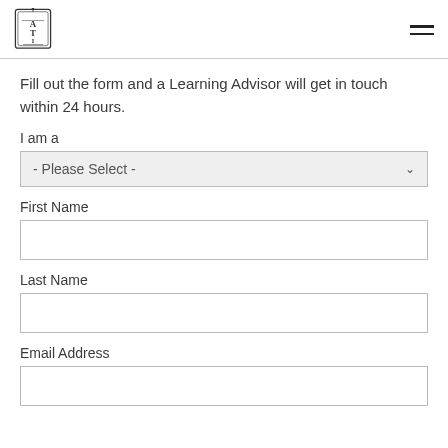ATI logo and navigation menu
Fill out the form and a Learning Advisor will get in touch within 24 hours.
I am a
- Please Select -
First Name
Last Name
Email Address